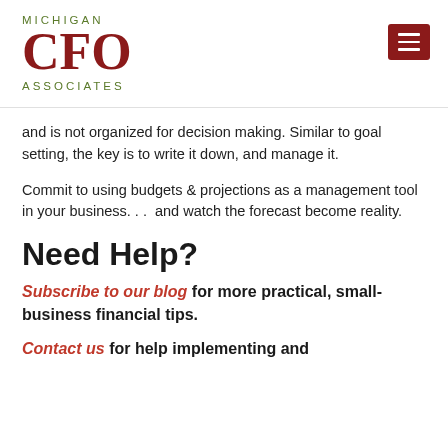Michigan CFO Associates
and is not organized for decision making. Similar to goal setting, the key is to write it down, and manage it.
Commit to using budgets & projections as a management tool in your business. . .  and watch the forecast become reality.
Need Help?
Subscribe to our blog for more practical, small-business financial tips.
Contact us for help implementing and